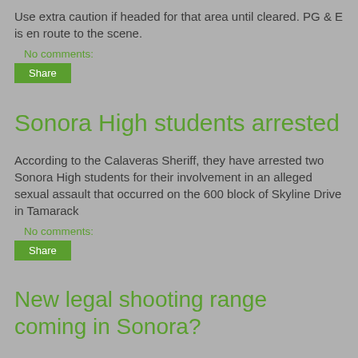Use extra caution if headed for that area until cleared. PG & E is en route to the scene.
No comments:
Share
Sonora High students arrested
According to the Calaveras Sheriff, they have arrested two Sonora High students for their involvement in an alleged sexual assault that occurred on the 600 block of Skyline Drive in Tamarack
No comments:
Share
New legal shooting range coming in Sonora?